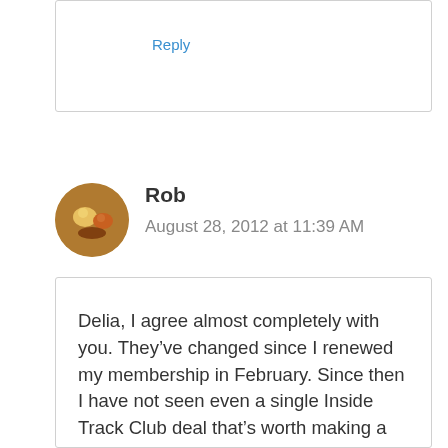Reply
Rob
August 28, 2012 at 11:39 AM
Delia, I agree almost completely with you. They’ve changed since I renewed my membership in February. Since then I have not seen even a single Inside Track Club deal that’s worth making a trip to the store.
What I’m seeing now is loads of the same old cheap $5 to $20 crap on …